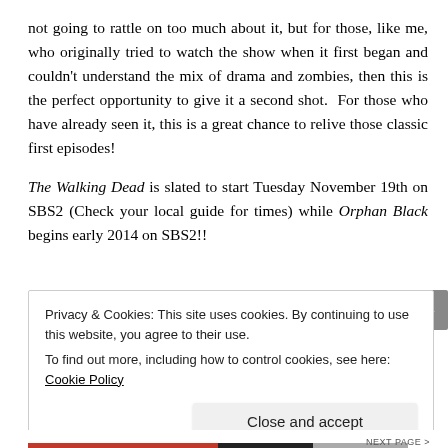not going to rattle on too much about it, but for those, like me, who originally tried to watch the show when it first began and couldn't understand the mix of drama and zombies, then this is the perfect opportunity to give it a second shot.  For those who have already seen it, this is a great chance to relive those classic first episodes!
The Walking Dead is slated to start Tuesday November 19th on SBS2 (Check your local guide for times) while Orphan Black begins early 2014 on SBS2!!
Privacy & Cookies: This site uses cookies. By continuing to use this website, you agree to their use.
To find out more, including how to control cookies, see here: Cookie Policy
Close and accept